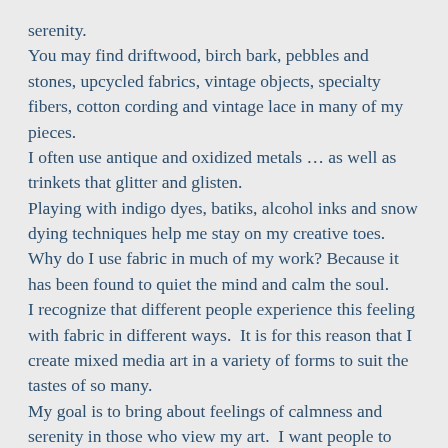serenity.
You may find driftwood, birch bark, pebbles and stones, upcycled fabrics, vintage objects, specialty fibers, cotton cording and vintage lace in many of my pieces.
I often use antique and oxidized metals … as well as trinkets that glitter and glisten.
Playing with indigo dyes, batiks, alcohol inks and snow dying techniques help me stay on my creative toes.
Why do I use fabric in much of my work? Because it has been found to quiet the mind and calm the soul.
I recognize that different people experience this feeling with fabric in different ways.  It is for this reason that I create mixed media art in a variety of forms to suit the tastes of so many.
My goal is to bring about feelings of calmness and serenity in those who view my art.  I want people to view my art and have them feel tension roll off their shoulders and a